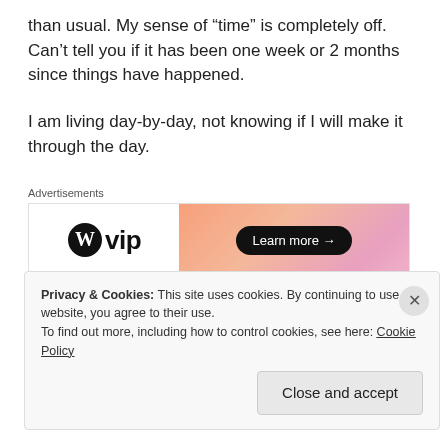than usual. My sense of “time” is completely off. Can’t tell you if it has been one week or 2 months since things have happened.
I am living day-by-day, not knowing if I will make it through the day.
[Figure (other): WordPress VIP advertisement banner with gradient background and Learn more button]
I plan for my future and my demise all in the same hour.
Privacy & Cookies: This site uses cookies. By continuing to use this website, you agree to their use. To find out more, including how to control cookies, see here: Cookie Policy